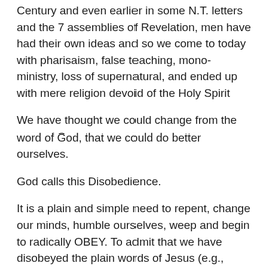Century and even earlier in some N.T. letters and the 7 assemblies of Revelation, men have had their own ideas and so we come to today with pharisaism, false teaching, mono-ministry, loss of supernatural, and ended up with mere religion devoid of the Holy Spirit
We have thought we could change from the word of God, that we could do better ourselves.
God calls this Disobedience.
It is a plain and simple need to repent, change our minds, humble ourselves, weep and begin to radically OBEY. To admit that we have disobeyed the plain words of Jesus (e.g., Matthew 18:17, 23). This will require humility, the will and searching to do only what the Father wants and to be willing to suffer reproach loss of friends and loneliness.